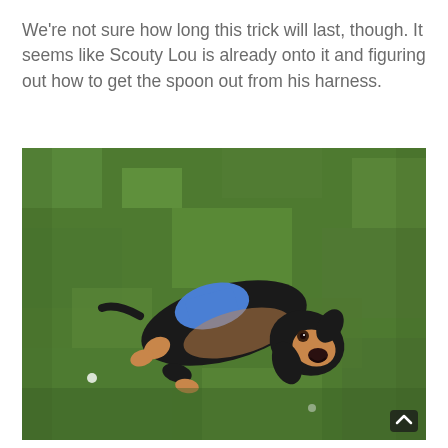We're not sure how long this trick will last, though. It seems like Scouty Lou is already onto it and figuring out how to get the spoon out from his harness.
[Figure (photo): A small black and tan puppy wearing a blue harness, lying on its back on green grass, looking upward with its mouth slightly open.]